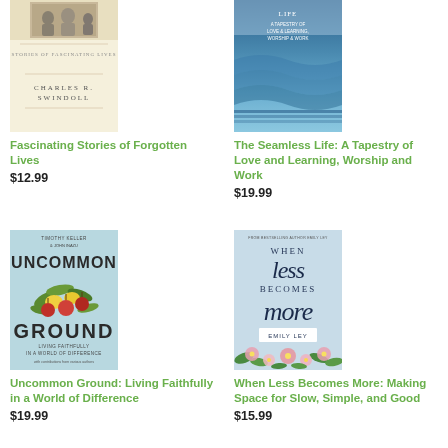[Figure (illustration): Book cover: Fascinating Stories of Forgotten Lives by Charles R. Swindoll, cream/ivory background with author photo at top]
Fascinating Stories of Forgotten Lives
$12.99
[Figure (illustration): Book cover: The Seamless Life: A Tapestry of Love and Learning, Worship and Work, blue/teal ocean/waves design]
The Seamless Life: A Tapestry of Love and Learning, Worship and Work
$19.99
[Figure (illustration): Book cover: Uncommon Ground: Living Faithfully in a World of Difference by Timothy Keller and John Inazu, light blue with fruit/leaves illustration and bold GROUND text]
Uncommon Ground: Living Faithfully in a World of Difference
$19.99
[Figure (illustration): Book cover: When Less Becomes More: Making Space for Slow, Simple, and Good by Emily Ley, light blue with script 'When less becomes more' and floral border]
When Less Becomes More: Making Space for Slow, Simple, and Good
$15.99